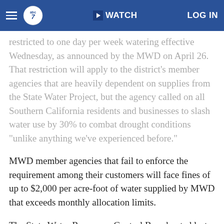abc7 WATCH LOG IN
restricted to one day per week watering effective Wednesday, as announced by the MWD on April 26. That restriction will apply to the district's member agencies that are heavily dependent on supplies from the State Water Project, but the agency called on all Southern California residents and businesses to slash water use by 30% to combat drought conditions "unlike anything we've experienced before."
MWD member agencies that fail to enforce the requirement among their customers will face fines of up to $2,000 per acre-foot of water supplied by MWD that exceeds monthly allocation limits.
The State Water Resources Control Board voted last